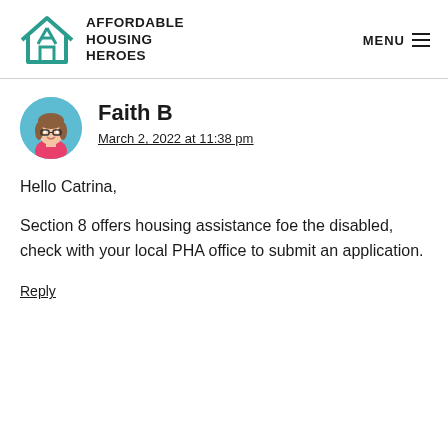[Figure (logo): Affordable Housing Heroes logo with teal house icon and bold text]
MENU ≡
Faith B
March 2, 2022 at 11:38 pm
Hello Catrina,
Section 8 offers housing assistance foe the disabled, check with your local PHA office to submit an application.
Reply